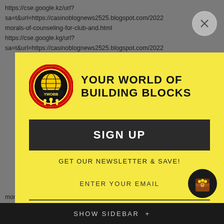https://cse.google.kz/url?sa=t&url=https://casinoblognews2525.blogspot.com/2022morals-of-counseling-for-club-and.html https://cse.google.kg/url?sa=t&url=https://casinoblognews2525.blogspot.com/2022
[Figure (logo): YWOBB - Your World of Building Blocks logo: circular emblem with globe and silhouetted people, black and yellow with red ring]
SIGN UP
GET OUR NEWSLETTER & SAVE!
ENTER YOUR EMAIL
SUBSCRIBE
morals-of-counseling-for-club-and.html
SHOW SIDEBAR +